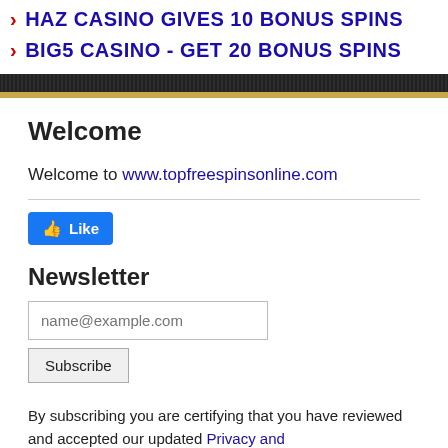HAZ CASINO GIVES 10 BONUS SPINS
BIG5 CASINO - GET 20 BONUS SPINS
Welcome
Welcome to www.topfreespinsonline.com
[Figure (other): Facebook Like button]
Newsletter
name@example.com (email input field)
Subscribe (button)
By subscribing you are certifying that you have reviewed and accepted our updated Privacy and